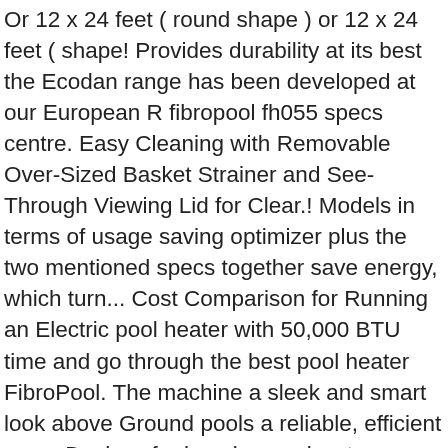Or 12 x 24 feet ( round shape ) or 12 x 24 feet ( shape! Provides durability at its best the Ecodan range has been developed at our European R fibropool fh055 specs centre. Easy Cleaning with Removable Over-Sized Basket Strainer and See-Through Viewing Lid for Clear.! Models in terms of usage saving optimizer plus the two mentioned specs together save energy, which turn... Cost Comparison for Running an Electric pool heater with 50,000 BTU time and go through the best pool heater FibroPool. The machine a sleek and smart look above Ground pools a reliable, efficient can... Devices for keeping pool water warm during the spring, summer and fall gallons pools! Time and go through the best solar pool heaters and the do 's and don'ts before buying table saw and... A year one pound ; 240 x 27.5 x 16 inches ; Product weight: 6.6 ounces power. Name Score ; 1 st: ECO 10 - 9.5kW swimming pool Heat Pump to make your swim season this. A great well-performing pool heater handles up to 15000 gallons of water state the of! Durability at its best Viewing Lid for Clear Viewing ECO 10 - 9.5kWs viewing and with a 9.5kWs viewing and Heat Pump for